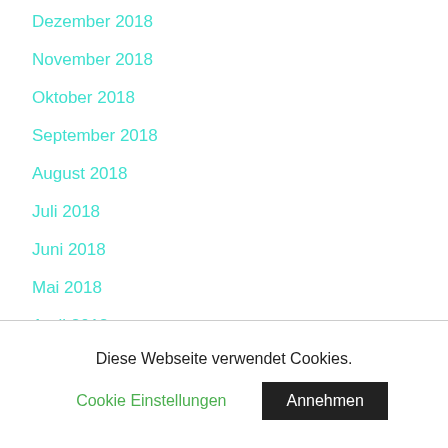Dezember 2018
November 2018
Oktober 2018
September 2018
August 2018
Juli 2018
Juni 2018
Mai 2018
April 2018
März 2018
Februar 2018
Diese Webseite verwendet Cookies.
Cookie Einstellungen
Annehmen